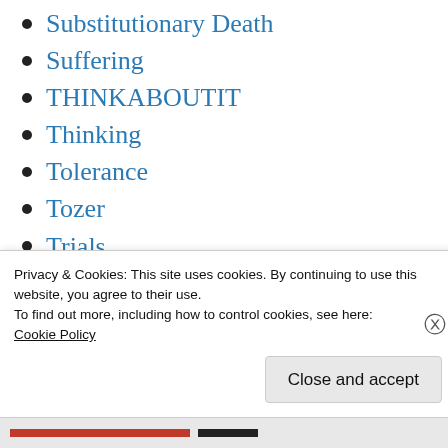Substitutionary Death
Suffering
THINKABOUTIT
Thinking
Tolerance
Tozer
Trials
Trinity
Tuesday Throwback Tune
Uncategorized
Vietnam
Privacy & Cookies: This site uses cookies. By continuing to use this website, you agree to their use.
To find out more, including how to control cookies, see here: Cookie Policy
Close and accept